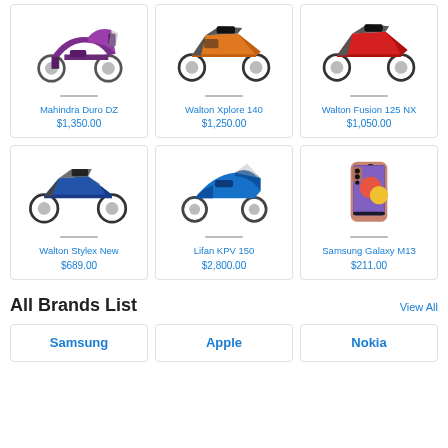[Figure (photo): Mahindra Duro DZ purple scooter]
Mahindra Duro DZ
$1,350.00
[Figure (photo): Walton Xplore 140 orange motorcycle]
Walton Xplore 140
$1,250.00
[Figure (photo): Walton Fusion 125 NX red motorcycle]
Walton Fusion 125 NX
$1,050.00
[Figure (photo): Walton Stylex New blue motorcycle]
Walton Stylex New
$689.00
[Figure (photo): Lifan KPV 150 blue scooter]
Lifan KPV 150
$2,800.00
[Figure (photo): Samsung Galaxy M13 smartphone rose gold]
Samsung Galaxy M13
$211.00
All Brands List
View All
Samsung
Apple
Nokia